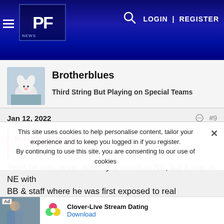PF — LOGIN | REGISTER
[Figure (screenshot): Website header with hamburger menu, PF logo, search icon, LOGIN and REGISTER navigation links on dark blue gradient background]
Brotherblues
Third String But Playing on Special Teams
Jan 12, 2022  #9
RobertWeathers said: ↑
Kilffy was a coach under Kubiak in HOU. Then he jumped to TT
Yeah he was never actually a coach in NE, but it was in NE with BB & staff where he was first exposed to real professional
This site uses cookies to help personalise content, tailor your experience and to keep you logged in if you register.
By continuing to use this site, you are consenting to our use of cookies
Ad  Clover-Live Stream Dating  Download